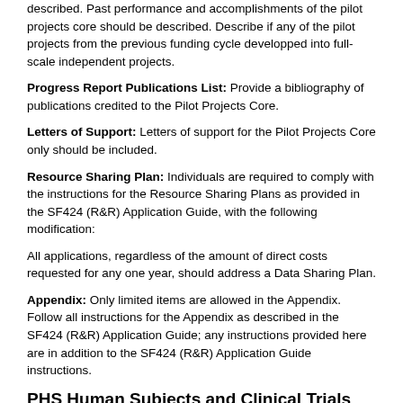described. Past performance and accomplishments of the pilot projects core should be described. Describe if any of the pilot projects from the previous funding cycle developped into full-scale independent projects.
Progress Report Publications List: Provide a bibliography of publications credited to the Pilot Projects Core.
Letters of Support: Letters of support for the Pilot Projects Core only should be included.
Resource Sharing Plan: Individuals are required to comply with the instructions for the Resource Sharing Plans as provided in the SF424 (R&R) Application Guide, with the following modification:
All applications, regardless of the amount of direct costs requested for any one year, should address a Data Sharing Plan.
Appendix: Only limited items are allowed in the Appendix. Follow all instructions for the Appendix as described in the SF424 (R&R) Application Guide; any instructions provided here are in addition to the SF424 (R&R) Application Guide instructions.
PHS Human Subjects and Clinical Trials Information (Pilot Projects Core)
When involving NIH-defined human subjects research, clinical